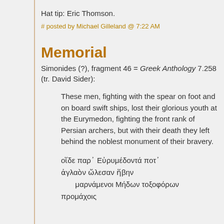Hat tip: Eric Thomson.
# posted by Michael Gilleland @ 7:22 AM
Memorial
Simonides (?), fragment 46 = Greek Anthology 7.258 (tr. David Sider):
These men, fighting with the spear on foot and on board swift ships, lost their glorious youth at the Eurymedon, fighting the front rank of Persian archers, but with their death they left behind the noblest monument of their bravery.
οἵδε παρ᾽ Εὐρυμέδοντά ποτ᾽ ἀγλαὸν ὤλεσαν ἥβην
  μαρνάμενοι Μήδων τοξοφόρων
προμάχοις